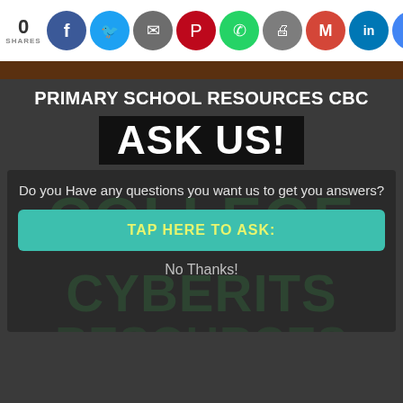0 SHARES — social share bar with Facebook, Twitter, Messenger, Pinterest, WhatsApp, Print, Gmail, LinkedIn, Google icons
PRIMARY SCHOOL RESOURCES CBC
ASK US!
Do you Have any questions you want us to get you answers?
TAP HERE TO ASK:
No Thanks!